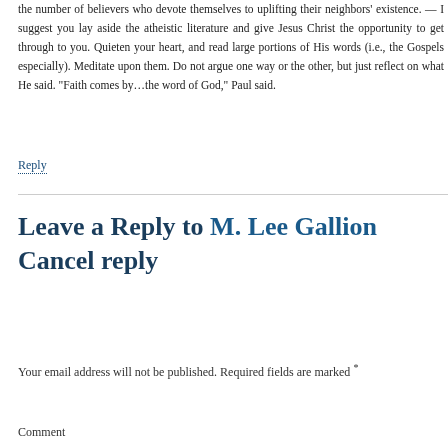the number of believers who devote themselves to uplifting their neighbors' existence. — I suggest you lay aside the atheistic literature and give Jesus Christ the opportunity to get through to you. Quieten your heart, and read large portions of His words (i.e., the Gospels especially). Meditate upon them. Do not argue one way or the other, but just reflect on what He said. "Faith comes by…the word of God," Paul said.
Reply
Leave a Reply to M. Lee Gallion Cancel reply
Your email address will not be published. Required fields are marked *
Comment